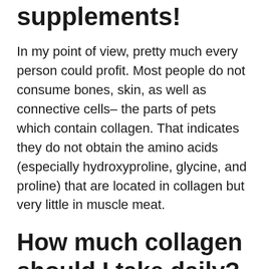supplements!
In my point of view, pretty much every person could profit. Most people do not consume bones, skin, as well as connective cells– the parts of pets which contain collagen. That indicates they do not obtain the amino acids (especially hydroxyproline, glycine, and proline) that are located in collagen but very little in muscle meat.
How much collagen should I take daily?
There is no RDA for collagen, as well as to my understanding, no studies have established optimal dosing standards. You might require essentially relying on your